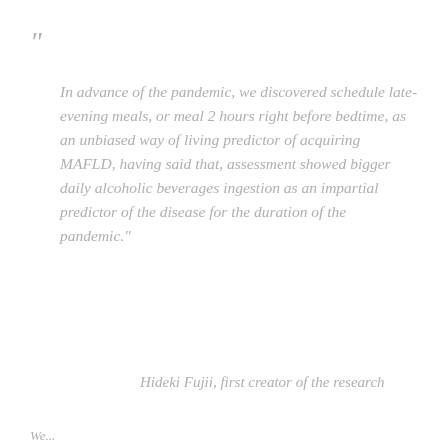“ &#13;
In advance of the pandemic, we discovered schedule late-evening meals, or meal 2 hours right before bedtime, as an unbiased way of living predictor of acquiring MAFLD, having said that, assessment showed bigger daily alcoholic beverages ingestion as an impartial predictor of the disease for the duration of the pandemic.”
&#13;
&#13;
Hideki Fujii, first creator of the research
&#13;
We...